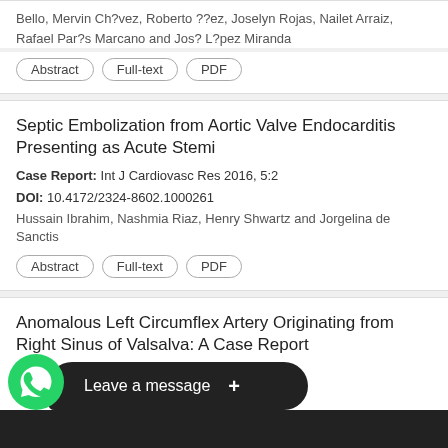Bello, Mervin Ch?vez, Roberto ??ez, Joselyn Rojas, Nailet Arraiz, Rafael Par?s Marcano and Jos? L?pez Miranda
Abstract | Full-text | PDF
Septic Embolization from Aortic Valve Endocarditis Presenting as Acute Stemi
Case Report: Int J Cardiovasc Res 2016, 5:2
DOI: 10.4172/2324-8602.1000261
Hussain Ibrahim, Nashmia Riaz, Henry Shwartz and Jorgelina de Sanctis
Abstract | Full-text | PDF
Anomalous Left Circumflex Artery Originating from Right Sinus of Valsalva: A Case Report
Case Report: Int J Cardiovas Res 2016,5:4
DOI: 10.4172/2324-8602.1000275
Salib and Raul Amor
[Figure (other): WhatsApp chat widget overlay with green phone icon and 'Leave a message +' black bubble]